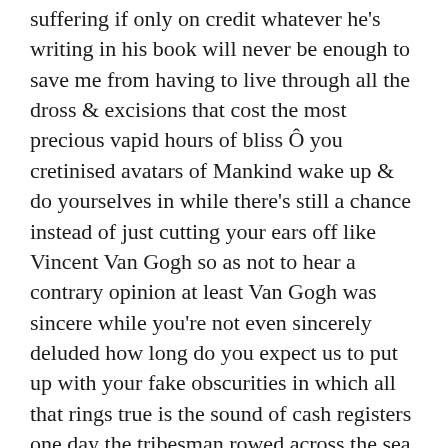suffering if only on credit whatever he's writing in his book will never be enough to save me from having to live through all the dross & excisions that cost the most precious vapid hours of bliss Ô you cretinised avatars of Mankind wake up & do yourselves in while there's still a chance instead of just cutting your ears off like Vincent Van Gogh so as not to hear a contrary opinion at least Van Gogh was sincere while you're not even sincerely deluded how long do you expect us to put up with your fake obscurities in which all that rings true is the sound of cash registers one day the tribesman rowed across the sea in their canoes to cut out the heart of the mythical beast the measure of our success will be the extent to which the products of our actions confound our enemies yet what surprise when instead of a heart they found only numbers accumulating & multiplying & called this the soul & she herself had thought her existence was supposed to be a closely-